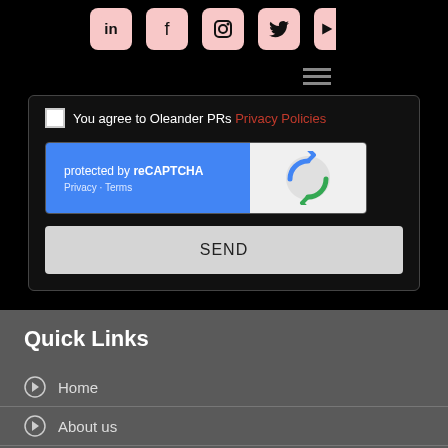[Figure (screenshot): Social media icon buttons (LinkedIn, Facebook, Instagram, Twitter, YouTube) as pink rounded squares on black background, and a hamburger menu icon]
You agree to Oleander PRs Privacy Policies
[Figure (screenshot): reCAPTCHA widget: blue left side with 'protected by reCAPTCHA' text and Privacy - Terms links, white right side with reCAPTCHA logo]
SEND
Quick Links
Home
About us